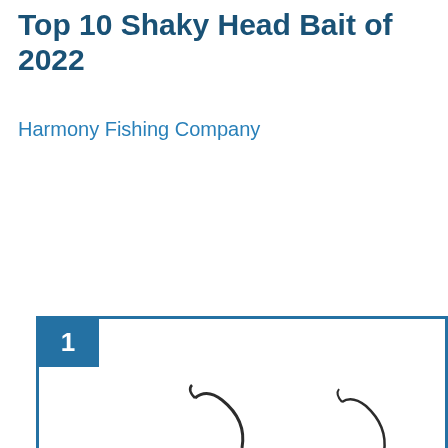Top 10 Shaky Head Bait of 2022
Harmony Fishing Company
[Figure (photo): Product listing card showing rank #1 with five black shaky head fishing jig hooks arranged in two rows against a white background. Each hook has a round ball head, a small spring/keeper, and a curved hook point.]